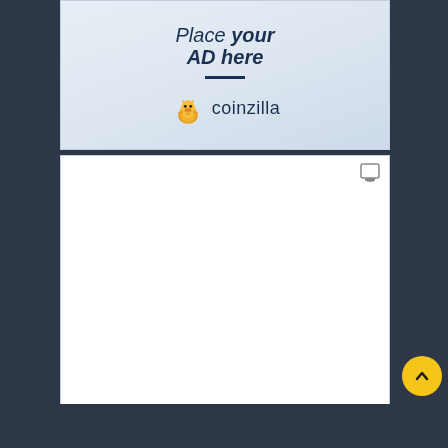[Figure (illustration): Coinzilla advertisement placeholder banner showing 'Place your AD here' text with a dark blue underline and the Coinzilla dragon logo with brand name]
[Figure (other): Empty white advertisement panel with a small icon in the top right corner]
[Figure (other): Yellow circular scroll-to-top button with upward chevron arrow]